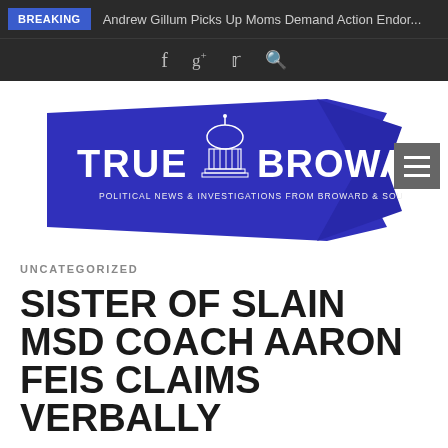BREAKING — Andrew Gillum Picks Up Moms Demand Action Endor...
[Figure (logo): True Broward logo — blue banner shape with capitol building icon, text: TRUE BROWARD, POLITICAL NEWS & INVESTIGATIONS FROM BROWARD & SOUTH FLORIDA]
UNCATEGORIZED
SISTER OF SLAIN MSD COACH AARON FEIS CLAIMS VERBALLY